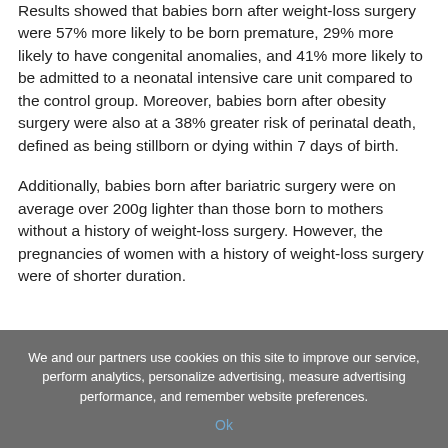Results showed that babies born after weight-loss surgery were 57% more likely to be born premature, 29% more likely to have congenital anomalies, and 41% more likely to be admitted to a neonatal intensive care unit compared to the control group. Moreover, babies born after obesity surgery were also at a 38% greater risk of perinatal death, defined as being stillborn or dying within 7 days of birth.
Additionally, babies born after bariatric surgery were on average over 200g lighter than those born to mothers without a history of weight-loss surgery. However, the pregnancies of women with a history of weight-loss surgery were of shorter duration.
We and our partners use cookies on this site to improve our service, perform analytics, personalize advertising, measure advertising performance, and remember website preferences.
Ok